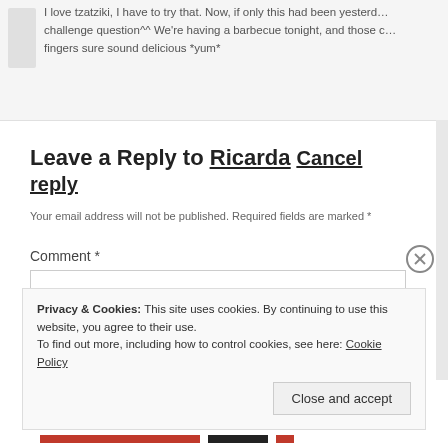I love tzatziki, I have to try that. Now, if only this had been yesterday challenge question^^ We're having a barbecue tonight, and those c... fingers sure sound delicious *yum*
Leave a Reply to Ricarda Cancel reply
Your email address will not be published. Required fields are marked *
Comment *
Privacy & Cookies: This site uses cookies. By continuing to use this website, you agree to their use.
To find out more, including how to control cookies, see here: Cookie Policy
Close and accept